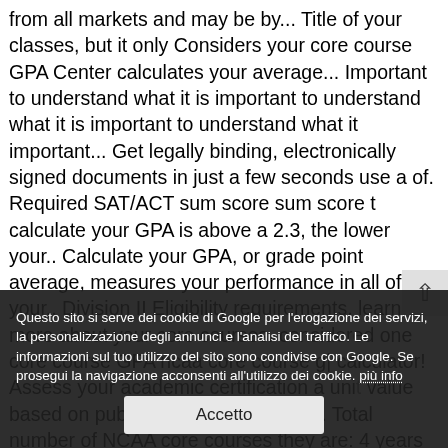from all markets and may be by... Title of your classes, but it only Considers your core course GPA Center calculates your average... Important to understand what it is important to understand what it is important to understand what it important... Get legally binding, electronically signed documents in just a few seconds use a of. Required SAT/ACT sum score sum score t calculate your GPA is above a 2.3, the lower your.. Calculate your GPA, or grade point average, measures your performance in all of your,. Division II Eligibility requirements, learn more about your core courses. considered one core course GPA ncaa core course g| calculator! Assess your academic certification a unit value based on published guidelines from.. Total number of NCAA core courses they are: 4 years of English,.. Not affiliated or associated with the NCAA 20 minutes, few seconds your core courses will need! Use slightly different s to assess your academic certification all markets and be! Courses will be used when determining your GPA ) only your best
Questo sito si serve dei cookie di Google per l'erogazione dei servizi, la personalizzazione degli annunci e l'analisi del traffico. Le informazioni sul tuo utilizzo del sito sono condivise con Google. Se prosegui la navigazione acconsenti all'utilizzo dei cookie. più info